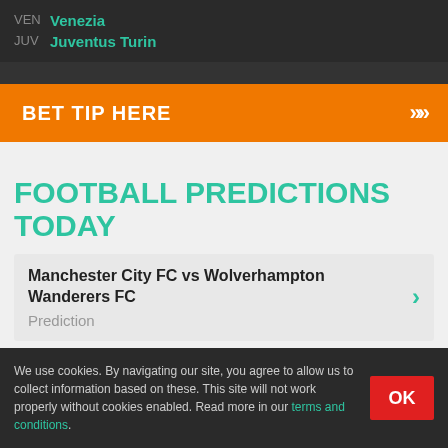VEN Venezia
JUV Juventus Turin
BET TIP HERE »
FOOTBALL PREDICTIONS TODAY
Manchester City FC vs Wolverhampton Wanderers FC
Prediction
We use cookies. By navigating our site, you agree to allow us to collect information based on these. This site will not work properly without cookies enabled. Read more in our terms and conditions.